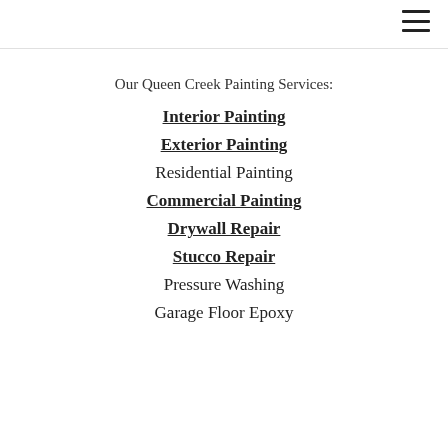Our Queen Creek Painting Services:
Interior Painting
Exterior Painting
Residential Painting
Commercial Painting
Drywall Repair
Stucco Repair
Pressure Washing
Garage Floor Epoxy